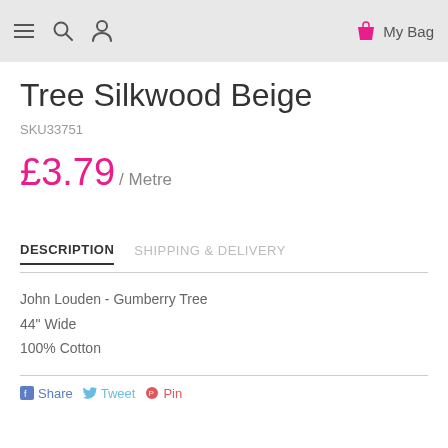My Bag
Tree Silkwood Beige
SKU33751
£3.79 / Metre
DESCRIPTION   SHIPPING & DELIVERY
John Louden - Gumberry Tree
44" Wide
100% Cotton
Share   Tweet   Pin